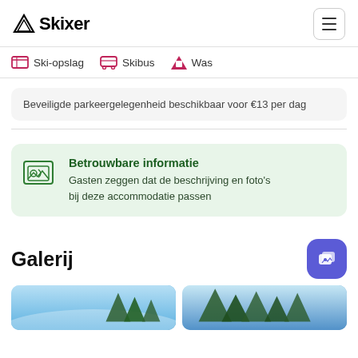Skixer
Ski-opslag
Skibus
Was
Beveiligde parkeergelegenheid beschikbaar voor €13 per dag
Betrouwbare informatie
Gasten zeggen dat de beschrijving en foto's bij deze accommodatie passen
Galerij
[Figure (photo): Outdoor ski resort photo showing snowy landscape with trees]
[Figure (photo): Outdoor ski resort photo showing forested landscape]